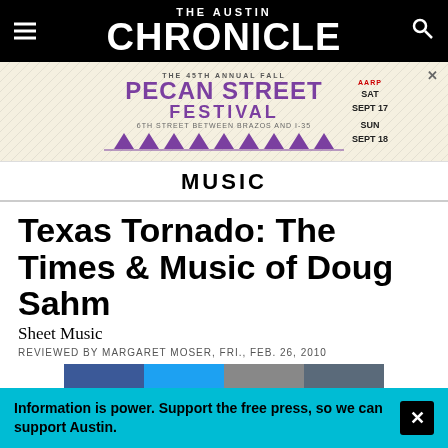THE AUSTIN CHRONICLE
[Figure (illustration): Pecan Street Festival advertisement banner: The 45th Annual Fall Pecan Street Festival, SAT SEPT 17, SUN SEPT 18, with festival tents illustration]
MUSIC
Texas Tornado: The Times & Music of Doug Sahm
Sheet Music
REVIEWED BY MARGARET MOSER, FRI., FEB. 26, 2010
[Figure (infographic): Social share buttons row: Facebook, Twitter, Print, Save]
Information is power. Support the free press, so we can support Austin.